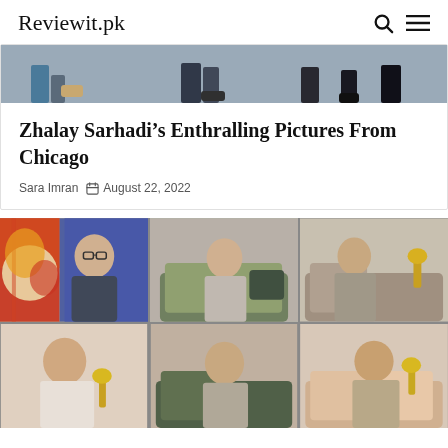Reviewit.pk
[Figure (photo): Top portion of an article card showing legs/feet of people walking near water, cropped image strip]
Zhalay Sarhadi’s Enthralling Pictures From Chicago
Sara Imran  📅 August 22, 2022
[Figure (photo): Grid of 6 photos showing people in what appears to be a reality TV show setting with colorful backgrounds, a man with glasses, and several women in conversation]